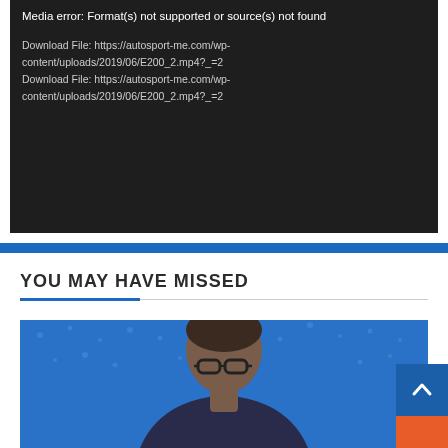Media error: Format(s) not supported or source(s) not found
Download File: https://autosport-me.com/wp-content/uploads/2019/06/E200_2.mp4?_=2
Download File: https://autosport-me.com/wp-content/uploads/2019/06/E200_2.mp4?_=2
YOU MAY HAVE MISSED
[Figure (photo): Man with glasses and dark hair on blue dotted background, partial view cropped at bottom of page]